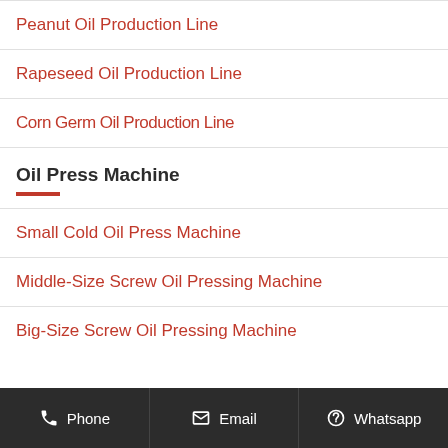Peanut Oil Production Line
Rapeseed Oil Production Line
Corn Germ Oil Production Line
Oil Press Machine
Small Cold Oil Press Machine
Middle-Size Screw Oil Pressing Machine
Big-Size Screw Oil Pressing Machine
Phone   Email   Whatsapp